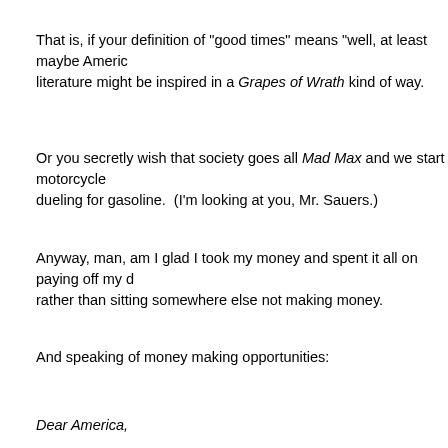That is, if your definition of "good times" means "well, at least maybe America's literature might be inspired in a Grapes of Wrath kind of way.
Or you secretly wish that society goes all Mad Max and we start motorcycle dueling for gasoline.  (I'm looking at you, Mr. Sauers.)
Anyway, man, am I glad I took my money and spent it all on paying off my debt rather than sitting somewhere else not making money.
And speaking of money making opportunities:
Dear America,
I need some cash.  You, despite all news reports to the contrary, have some money you want to invest.
If you invest in Mike McNamara, I'll send you a 8% return on your investment single year.
Sure, it won't make you rich, and back in the good old days of "just the other or so", you would have considered it a low rate of return for your 401(k).  But do you really trust the stock market these days?  And sure, you could put it in a or a CD with alleged safety -- but why depend on a cold corporation to make money when get a few extra bucks per month for doing nothing but maki